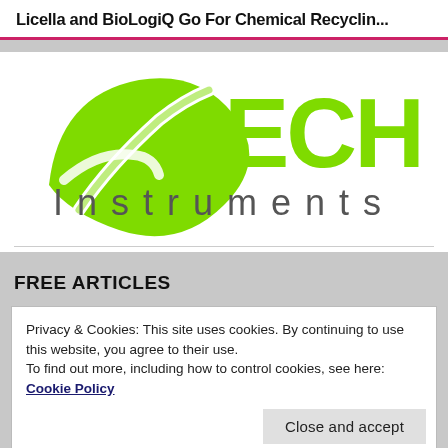Licella and BioLogiQ Go For Chemical Recyclin...
[Figure (logo): ECHO Instruments logo with green leaf and bold green ECHO text and grey Instruments text]
FREE ARTICLES
Privacy & Cookies: This site uses cookies. By continuing to use this website, you agree to their use.
To find out more, including how to control cookies, see here: Cookie Policy
Close and accept
[Figure (photo): Chalkboard with chalk text partially visible at bottom of page]